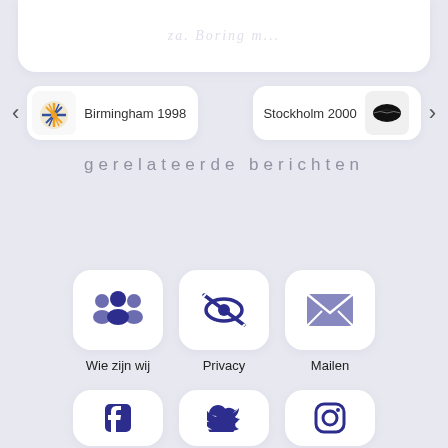[Figure (screenshot): Top white card with faint watermark text]
Birmingham 1998
Stockholm 2000
gerelateerde berichten
Wie zijn wij
Privacy
Mailen
[Figure (illustration): Bottom row with Facebook, Twitter, Instagram icons in white rounded cards]